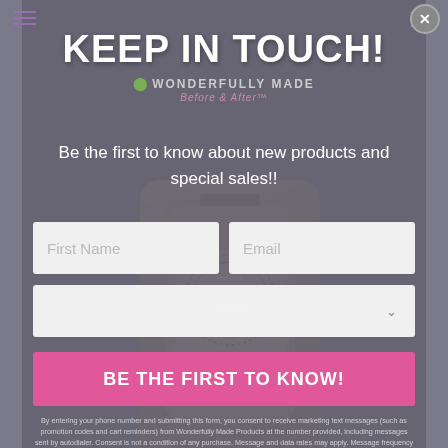KEEP IN TOUCH!
WONDERFULLY MADE
Be the first to know about new products and special sales!!
First Name
Email
BE THE FIRST TO KNOW!
By entering your phone number and submitting this form, you consent to receive marketing text messages (such as promotion codes and cart reminders) from Wonderfully Made Products at the number provided, including messages sent by autodialer. Consent is not a condition of any purchase. Message and data rates may apply. Message frequency varies. You can unsubscribe at any time by replying STOP or clicking the unsubscribe link (where available) in one of our messages. View our Privacy Policy and Terms of Service